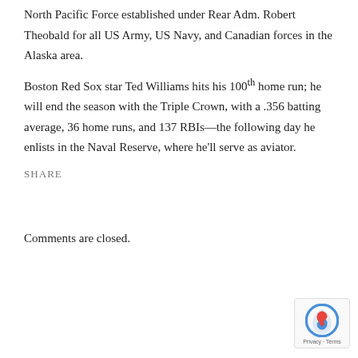North Pacific Force established under Rear Adm. Robert Theobald for all US Army, US Navy, and Canadian forces in the Alaska area.
Boston Red Sox star Ted Williams hits his 100th home run; he will end the season with the Triple Crown, with a .356 batting average, 36 home runs, and 137 RBIs—the following day he enlists in the Naval Reserve, where he'll serve as aviator.
SHARE
Comments are closed.